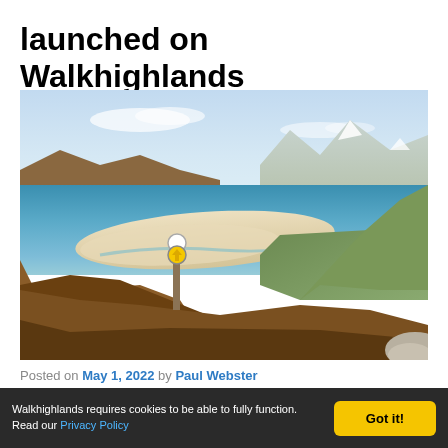launched on Walkhighlands
[Figure (photo): Scenic landscape photo of a Highland beach with turquoise water, white sand bar, green hills, mountains in the background under a blue sky, with a wooden signpost in the foreground]
Posted on May 1, 2022 by Paul Webster
We're delighted to launch our new guide to the Hebridean Way,
Walkhighlands requires cookies to be able to fully function. Read our Privacy Policy